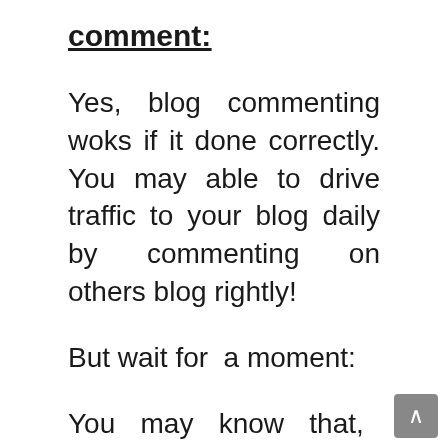comment:
Yes, blog commenting woks if it done correctly. You may able to drive traffic to your blog daily by commenting on others blog rightly!
But wait for  a moment:
You  may  know  that,  blog commenting  does  not  mean doing spam here and there.  For